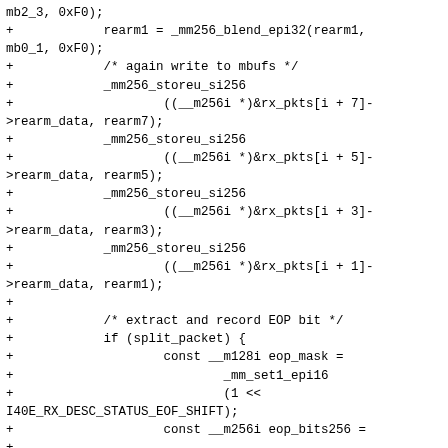mb2_3, 0xF0);
+			rearm1 = _mm256_blend_epi32(rearm1,
mb0_1, 0xF0);
+			/* again write to mbufs */
+			_mm256_storeu_si256
+					((__m256i *)&rx_pkts[i + 7]-
>rearm_data, rearm7);
+			_mm256_storeu_si256
+					((__m256i *)&rx_pkts[i + 5]-
>rearm_data, rearm5);
+			_mm256_storeu_si256
+					((__m256i *)&rx_pkts[i + 3]-
>rearm_data, rearm3);
+			_mm256_storeu_si256
+					((__m256i *)&rx_pkts[i + 1]-
>rearm_data, rearm1);
+
+			/* extract and record EOP bit */
+			if (split_packet) {
+					const __m128i eop_mask =
+							_mm_set1_epi16
+							(1 <<
I40E_RX_DESC_STATUS_EOF_SHIFT);
+					const __m256i eop_bits256 =
+
_mm256_and_si256(status0_7, eop_check);
+					/* pack status bits into a
single 128-bit register */
+					const __m128i eop_bits =
+							mm_packus_epi32